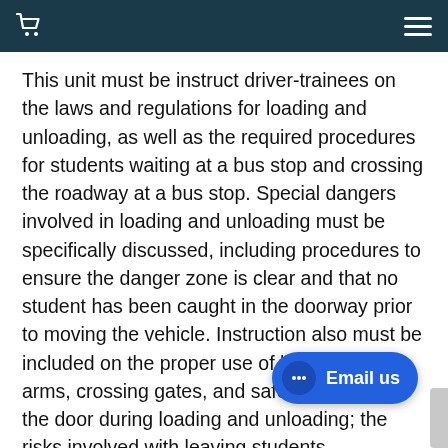This unit must be instruct driver-trainees on the laws and regulations for loading and unloading, as well as the required procedures for students waiting at a bus stop and crossing the roadway at a bus stop. Special dangers involved in loading and unloading must be specifically discussed, including procedures to ensure the danger zone is clear and that no student has been caught in the doorway prior to moving the vehicle. Instruction also must be included on the proper use of lights, stop arms, crossing gates, and safe operation of the door during loading and unloading; the risks involved with leaving students unattended on a sc the proper techniques for checking the bus for sleeping children and letting it out the re of...